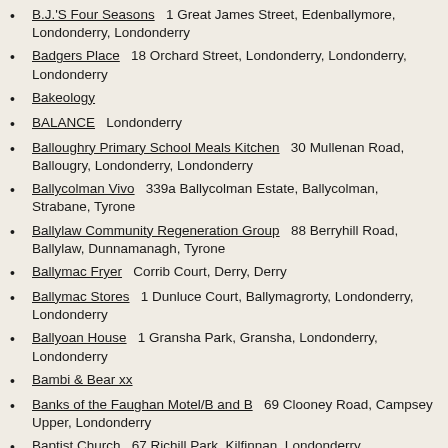B.J.'S Four Seasons   1 Great James Street, Edenballymore, Londonderry, Londonderry
Badgers Place   18 Orchard Street, Londonderry, Londonderry, Londonderry
Bakeology
BALANCE   Londonderry
Balloughry Primary School Meals Kitchen   30 Mullenan Road, Ballougry, Londonderry, Londonderry
Ballycolman Vivo   339a Ballycolman Estate, Ballycolman, Strabane, Tyrone
Ballylaw Community Regeneration Group   88 Berryhill Road, Ballylaw, Dunnamanagh, Tyrone
Ballymac Fryer   Corrib Court, Derry, Derry
Ballymac Stores   1 Dunluce Court, Ballymagrorty, Londonderry, Londonderry
Ballyoan House   1 Gransha Park, Gransha, Londonderry, Londonderry
Bambi & Bear xx
Banks of the Faughan Motel/B and B   69 Clooney Road, Campsey Upper, Londonderry
Baptist Church   67 Richill Park, Kilfinnan, Londonderry, Londonderry
Barista on the Foyle   78-80 Strand Road, Edenballymore, Londonderry, Londonderry